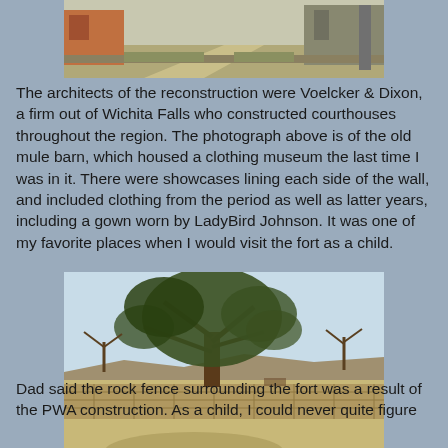[Figure (photo): Partial view of a building exterior with a pathway and open grounds, cropped at top]
The architects of the reconstruction were Voelcker & Dixon, a firm out of Wichita Falls who constructed courthouses throughout the region.  The photograph above is of the old mule barn, which housed a clothing museum the last time I was in it.  There were showcases lining each side of the wall, and included clothing from the period as well as latter years, including a gown worn by LadyBird Johnson.  It was one of my favorite places when I would visit the fort as a child.
[Figure (photo): Outdoor photograph showing a large tree behind a stone fence/wall with open flat landscape and blue sky in the background]
Dad said the rock fence surrounding the fort was a result of the PWA construction.  As a child, I could never quite figure